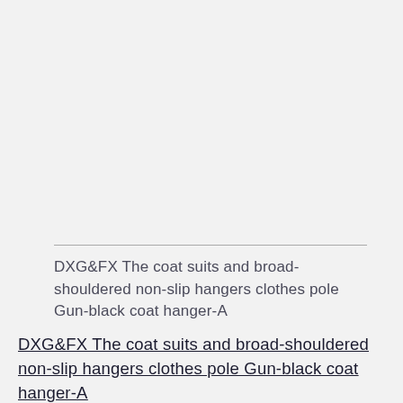DXG&FX The coat suits and broad-shouldered non-slip hangers clothes pole Gun-black coat hanger-A
DXG&FX The coat suits and broad-shouldered non-slip hangers clothes pole Gun-black coat hanger-A   Delivery within 15-25